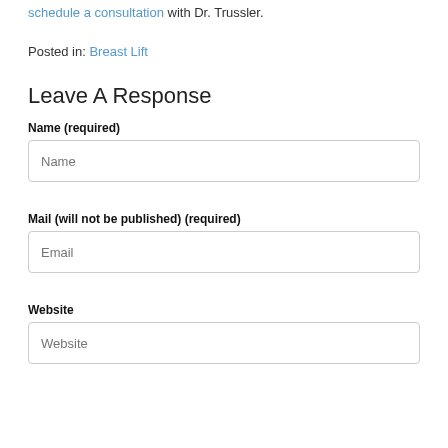schedule a consultation with Dr. Trussler.
Posted in: Breast Lift
Leave A Response
Name (required)
Mail (will not be published) (required)
Website